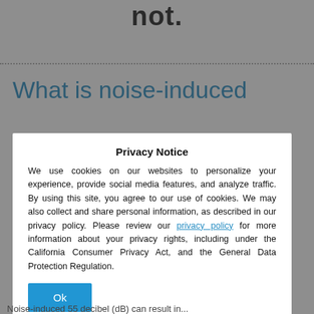not.
What is noise-induced hearing loss?
Privacy Notice
We use cookies on our websites to personalize your experience, provide social media features, and analyze traffic. By using this site, you agree to our use of cookies. We may also collect and share personal information, as described in our privacy policy. Please review our privacy policy for more information about your privacy rights, including under the California Consumer Privacy Act, and the General Data Protection Regulation.
Ok